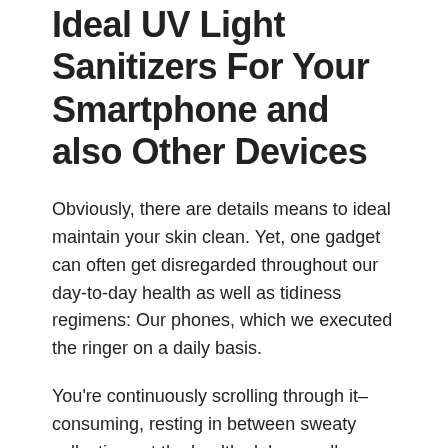Ideal UV Light Sanitizers For Your Smartphone and also Other Devices
Obviously, there are details means to ideal maintain your skin clean. Yet, one gadget can often get disregarded throughout our day-to-day health as well as tidiness regimens: Our phones, which we executed the ringer on a daily basis.
You're continuously scrolling through it– consuming, resting in between sweaty collections at the health club as well as so on. Maybe your youngsters are grabbing it with less-than-clean hands.
Or possibly you're whipping up dinner (hey there, raw hen)...